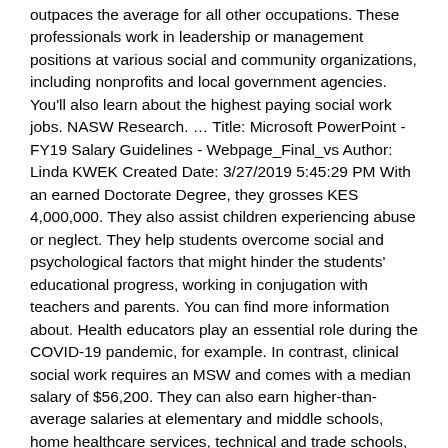outpaces the average for all other occupations. These professionals work in leadership or management positions at various social and community organizations, including nonprofits and local government agencies. You'll also learn about the highest paying social work jobs. NASW Research. … Title: Microsoft PowerPoint - FY19 Salary Guidelines - Webpage_Final_vs Author: Linda KWEK Created Date: 3/27/2019 5:45:29 PM With an earned Doctorate Degree, they grosses KES 4,000,000. They also assist children experiencing abuse or neglect. They help students overcome social and psychological factors that might hinder the students' educational progress, working in conjugation with teachers and parents. You can find more information about. Health educators play an essential role during the COVID-19 pandemic, for example. In contrast, clinical social work requires an MSW and comes with a median salary of $56,200. They can also earn higher-than-average salaries at elementary and middle schools, home healthcare services, technical and trade schools, and employment services. The Think Ahead programme is a new route into social work, for graduates and career-changers remarkable enough to make a real difference to people with mental health problems. than the average base salary, which is $50,150...